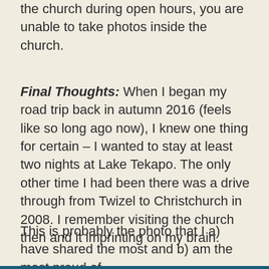the church during open hours, you are unable to take photos inside the church.
Final Thoughts: When I began my road trip back in autumn 2016 (feels like so long ago now), I knew one thing for certain – I wanted to stay at least two nights at Lake Tekapo. The only other time I had been there was a drive through from Twizel to Christchurch in 2008. I remember visiting the church then and it imprinting on my brain.
This is probably the photo that I a) have shared the most and b) am the most proud of.